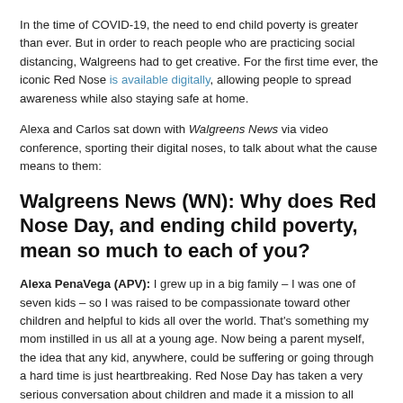In the time of COVID-19, the need to end child poverty is greater than ever. But in order to reach people who are practicing social distancing, Walgreens had to get creative. For the first time ever, the iconic Red Nose is available digitally, allowing people to spread awareness while also staying safe at home.
Alexa and Carlos sat down with Walgreens News via video conference, sporting their digital noses, to talk about what the cause means to them:
Walgreens News (WN): Why does Red Nose Day, and ending child poverty, mean so much to each of you?
Alexa PenaVega (APV): I grew up in a big family – I was one of seven kids – so I was raised to be compassionate toward other children and helpful to kids all over the world. That's something my mom instilled in us all at a young age. Now being a parent myself, the idea that any kid, anywhere, could be suffering or going through a hard time is just heartbreaking. Red Nose Day has taken a very serious conversation about children and made it a mission to all